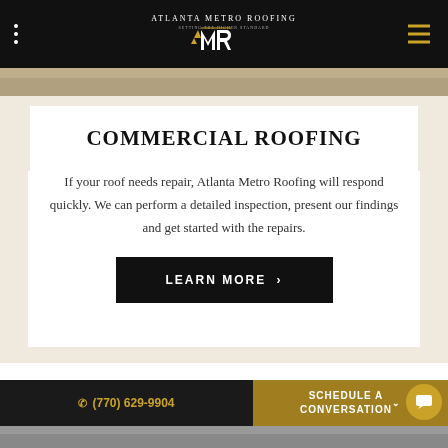Atlanta Metro Roofing
[Figure (photo): Roofing materials close-up photo strip]
COMMERCIAL ROOFING
If your roof needs repair, Atlanta Metro Roofing will respond quickly. We can perform a detailed inspection, present our findings and get started with the repairs.
LEARN MORE ›
(770) 629-9904 | SCHEDULE A CONVERSATION